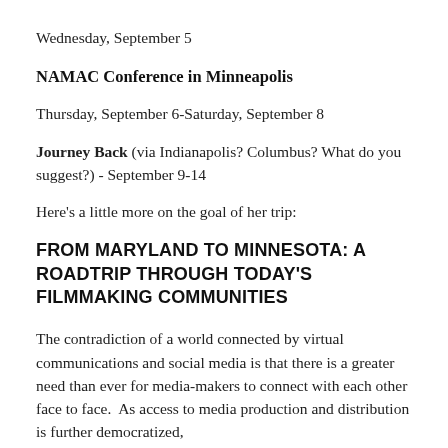Wednesday, September 5
NAMAC Conference in Minneapolis
Thursday, September 6-Saturday, September 8
Journey Back (via Indianapolis? Columbus? What do you suggest?) - September 9-14
Here's a little more on the goal of her trip:
FROM MARYLAND TO MINNESOTA: A ROADTRIP THROUGH TODAY'S FILMMAKING COMMUNITIES
The contradiction of a world connected by virtual communications and social media is that there is a greater need than ever for media-makers to connect with each other face to face.  As access to media production and distribution is further democratized,